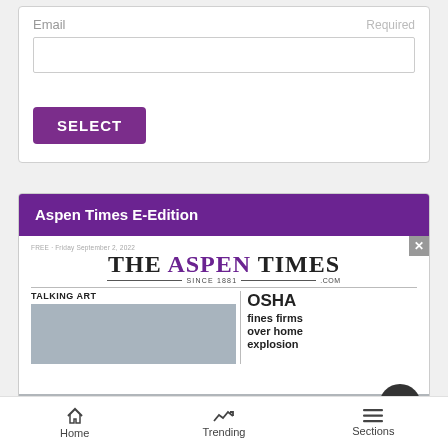Email
Required
SELECT
Aspen Times E-Edition
[Figure (screenshot): The Aspen Times newspaper e-edition preview showing masthead with 'THE ASPEN TIMES SINCE 1881 .COM', with sections 'TALKING ART' and 'OSHA fines firms over home explosion']
Home   Trending   Sections